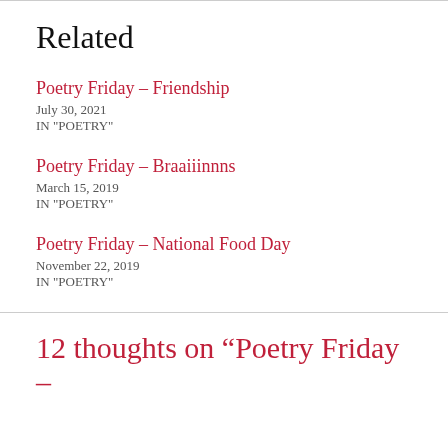Related
Poetry Friday – Friendship
July 30, 2021
IN "POETRY"
Poetry Friday – Braaiiinnns
March 15, 2019
IN "POETRY"
Poetry Friday – National Food Day
November 22, 2019
IN "POETRY"
12 thoughts on “Poetry Friday –